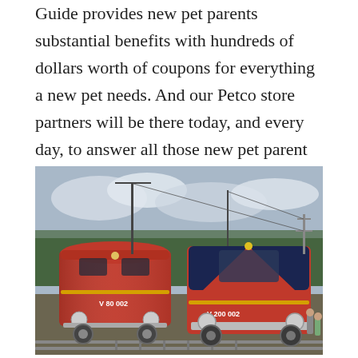Guide provides new pet parents substantial benefits with hundreds of dollars worth of coupons for everything a new pet needs. And our Petco store partners will be there today, and every day, to answer all those new pet parent questions and make sure every adoption is a successful one.
[Figure (photo): Photograph of two vintage red diesel locomotives side by side at a rail station. The left locomotive is labeled 'V 80 002' and the right, larger locomotive with a dark navy/blue upper section is labeled 'V 200 002'. Background shows trees, overhead wires, and overcast sky.]